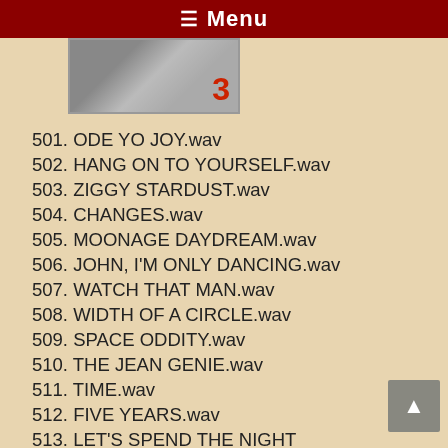≡ Menu
[Figure (photo): Partial photo showing a person, number 3 visible in red]
501. ODE YO JOY.wav
502. HANG ON TO YOURSELF.wav
503. ZIGGY STARDUST.wav
504. CHANGES.wav
505. MOONAGE DAYDREAM.wav
506. JOHN, I'M ONLY DANCING.wav
507. WATCH THAT MAN.wav
508. WIDTH OF A CIRCLE.wav
509. SPACE ODDITY.wav
510. THE JEAN GENIE.wav
511. TIME.wav
512. FIVE YEARS.wav
513. LET'S SPEND THE NIGHT TOGETHER.wav
514. STARMAN